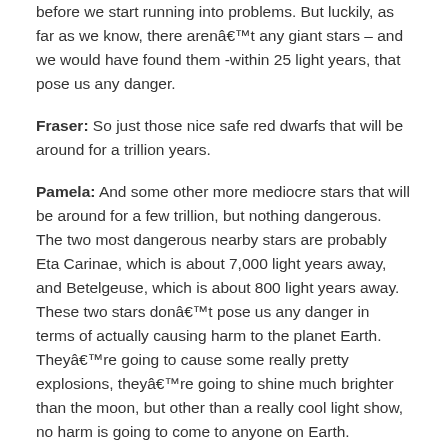before we start running into problems. But luckily, as far as we know, there arenât any giant stars – and we would have found them -within 25 light years, that pose us any danger.
Fraser: So just those nice safe red dwarfs that will be around for a trillion years.
Pamela: And some other more mediocre stars that will be around for a few trillion, but nothing dangerous. The two most dangerous nearby stars are probably Eta Carinae, which is about 7,000 light years away, and Betelgeuse, which is about 800 light years away. These two stars donât pose us any danger in terms of actually causing harm to the planet Earth. Theyâre going to cause some really pretty explosions, theyâre going to shine much brighter than the moon, but other than a really cool light show, no harm is going to come to anyone on Earth.